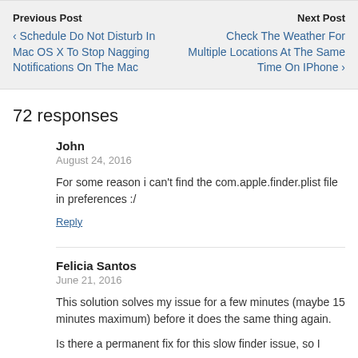Previous Post
‹ Schedule Do Not Disturb In Mac OS X To Stop Nagging Notifications On The Mac
Next Post
Check The Weather For Multiple Locations At The Same Time On IPhone ›
72 responses
John
August 24, 2016
For some reason i can't find the com.apple.finder.plist file in preferences :/
Reply
Felicia Santos
June 21, 2016
This solution solves my issue for a few minutes (maybe 15 minutes maximum) before it does the same thing again.
Is there a permanent fix for this slow finder issue, so I